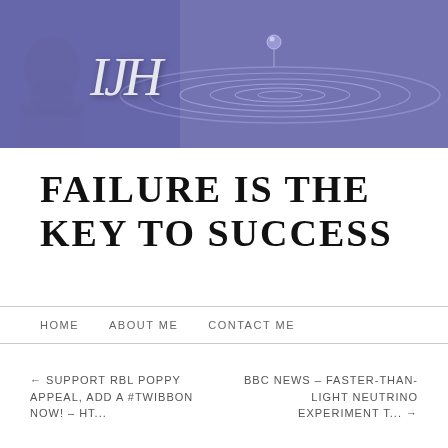[Figure (illustration): Blog header banner with blue-purple background, water ripple/drop effect, a faded portrait of an elderly bearded man on the left, and the italic monogram 'IJH' in white serif font]
FAILURE IS THE KEY TO SUCCESS
HOME   ABOUT ME   CONTACT ME
← SUPPORT RBL POPPY APPEAL, ADD A #TWIBBON NOW! – HT...
BBC NEWS – FASTER-THAN-LIGHT NEUTRINO EXPERIMENT T... →